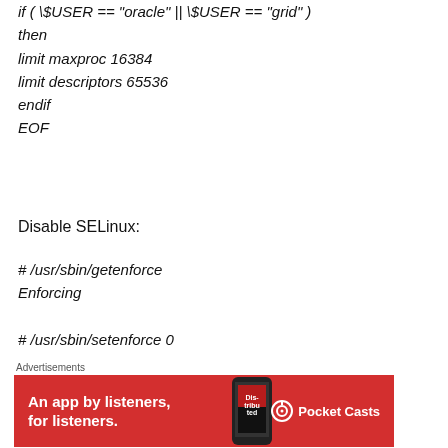if ( \$USER == "oracle" || \$USER == "grid" )
then
limit maxproc 16384
limit descriptors 65536
endif
EOF
Disable SELinux:
# /usr/sbin/getenforce
Enforcing

# /usr/sbin/setenforce 0
[Figure (other): Pocket Casts advertisement banner: 'An app by listeners, for listeners.' with a red background and phone image.]